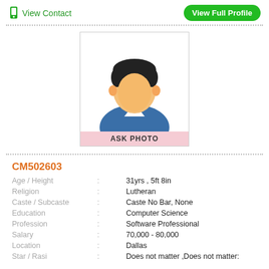View Contact
View Full Profile
[Figure (illustration): Generic male avatar placeholder with dark hair, peach face, blue shirt, and pink 'ASK PHOTO' label at the bottom]
CM502603
Age / Height : 31yrs , 5ft 8in
Religion : Lutheran
Caste / Subcaste : Caste No Bar, None
Education : Computer Science
Profession : Software Professional
Salary : 70,000 - 80,000
Location : Dallas
Star / Rasi : Does not matter ,Does not matter: